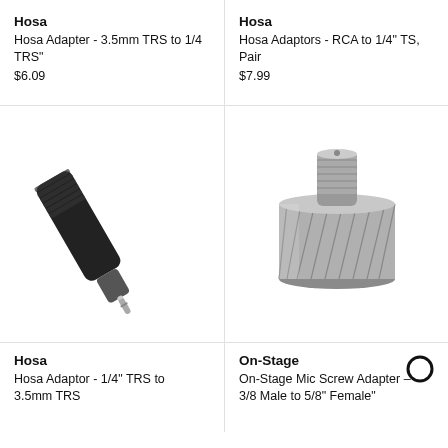Hosa
Hosa Adapter - 3.5mm TRS to 1/4 TRS"
$6.09
Hosa
Hosa Adaptors - RCA to 1/4" TS, Pair
$7.99
[Figure (photo): Black Hosa 3.5mm TRS to 1/4 TRS audio adapter plug, diagonal view on white background]
[Figure (photo): Silver/chrome On-Stage mic screw adapter, cylindrical knurled body with threaded post on top, on white background]
Hosa
Hosa Adaptor - 1/4" TRS to 3.5mm TRS
On-Stage
On-Stage Mic Screw Adapter - 3/8 Male to 5/8" Female"